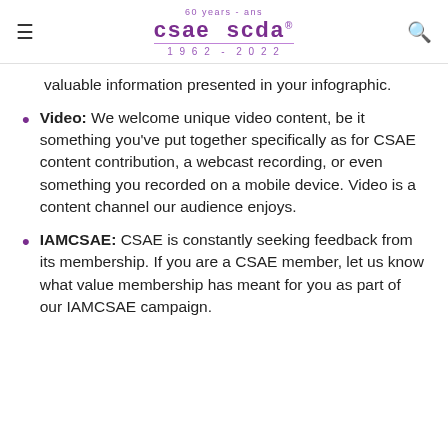60 years - ans | csae scda | 1962 - 2022
valuable information presented in your infographic.
Video: We welcome unique video content, be it something you've put together specifically as for CSAE content contribution, a webcast recording, or even something you recorded on a mobile device. Video is a content channel our audience enjoys.
IAMCSAE: CSAE is constantly seeking feedback from its membership. If you are a CSAE member, let us know what value membership has meant for you as part of our IAMCSAE campaign.